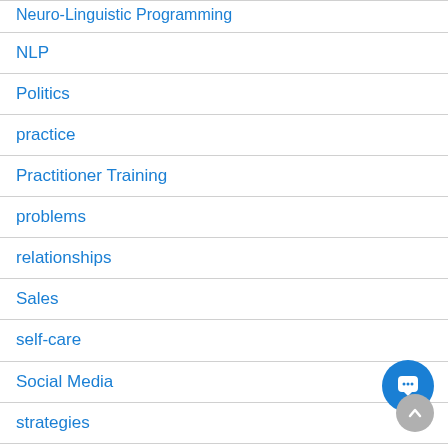Neuro-Linguistic Programming
NLP
Politics
practice
Practitioner Training
problems
relationships
Sales
self-care
Social Media
strategies
Subconscious Mind